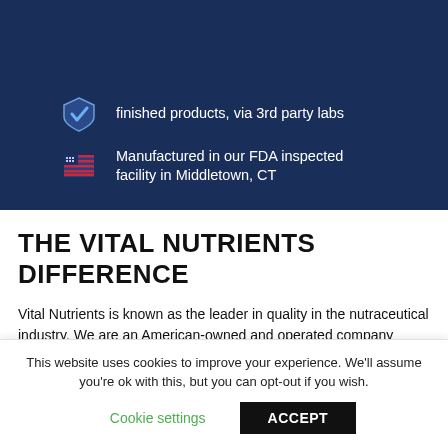[Figure (infographic): Blue banner with shield/checkmark icon and text about finished products via 3rd party labs, and a US flag icon with text about FDA inspected facility in Middletown, CT]
THE VITAL NUTRIENTS DIFFERENCE
Vital Nutrients is known as the leader in quality in the nutraceutical industry. We are an American-owned and operated company dedicated to manufacturing high-quality nutritional supplements that promote health, wellness, and vitality. Our products are trusted by hospitals, healthcare practitioners, and consumers worldwide.
While all-natural product companies claim to have the
This website uses cookies to improve your experience. We'll assume you're ok with this, but you can opt-out if you wish.
Cookie settings   ACCEPT